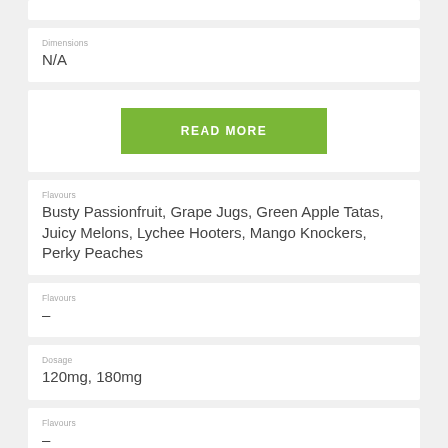Dimensions
N/A
[Figure (other): Green READ MORE button]
Flavours
Busty Passionfruit, Grape Jugs, Green Apple Tatas, Juicy Melons, Lychee Hooters, Mango Knockers, Perky Peaches
Flavours
-
Dosage
120mg, 180mg
Flavours
-